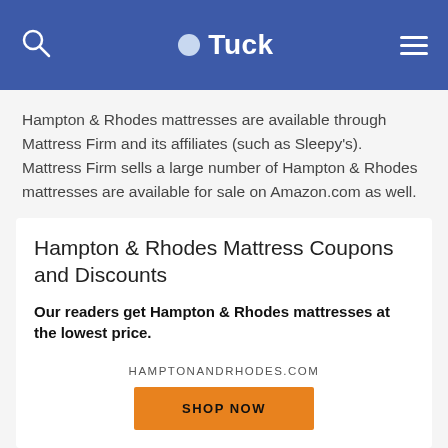Tuck
Hampton & Rhodes mattresses are available through Mattress Firm and its affiliates (such as Sleepy's). Mattress Firm sells a large number of Hampton & Rhodes mattresses are available for sale on Amazon.com as well.
Hampton & Rhodes Mattress Coupons and Discounts
Our readers get Hampton & Rhodes mattresses at the lowest price.
HAMPTONANDRHODES.COM
SHOP NOW